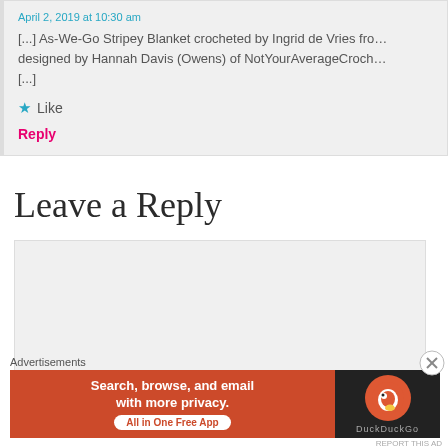April 2, 2019 at 10:30 am
[...] As-We-Go Stripey Blanket crocheted by Ingrid de Vries fro… designed by Hannah Davis (Owens) of NotYourAverageCroch… [...]
★ Like
Reply
Leave a Reply
[Figure (other): Comment text area input box, light gray background]
Advertisements
[Figure (other): DuckDuckGo advertisement banner: orange left side with text 'Search, browse, and email with more privacy. All in One Free App' and dark right side with DuckDuckGo logo]
REPORT THIS AD